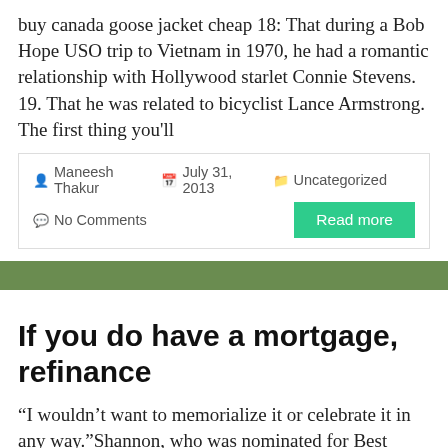buy canada goose jacket cheap 18: That during a Bob Hope USO trip to Vietnam in 1970, he had a romantic relationship with Hollywood starlet Connie Stevens. 19. That he was related to bicyclist Lance Armstrong. The first thing you'll
Maneesh Thakur   July 31, 2013   Uncategorized   No Comments
Read more
If you do have a mortgage, refinance
“I wouldn’t want to memorialize it or celebrate it in any way.”Shannon, who was nominated for Best Supporting Actor for 2009s “Revolutionary Road” and 2016s “Nocturnal Animals,” was similarly dismissive when asked about Trump voters.“Somebody who thinks Trump is doing